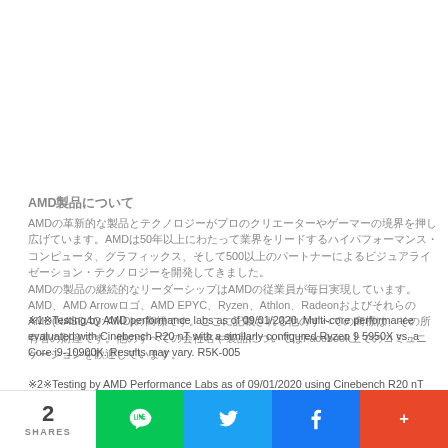AMD製品について
AMDの革新的な製品とテクノロジーがプロのクリエーターやゲーマーの境界を押し広げています。AMDは50年以上にわたって業界をリードするハイパフォーマンス・コンピュータ、グラフィックス、そして500以上のパートナーによるビジュアライゼーション・テクノロジーを開発してきました。
AMD製品の継続的なリーダーシップはAMDの従業員が毎日実現しています。
AMD、AMD Arrowロゴ、AMD EPYC、Ryzen、Athlon、RadeonおよびそれらのAMD(NASDAQ: AMD)の商標です。ここに記載される他のすべての商標は、その所有者の財産です。他のすべての会社名や製品についてはFacebook上でのコミュニケーションを歓迎しています。
※1※Testing by AMD performance labs as of 09/01/2020. Multi-core performance evaluated with Cinebench R20 nT with a similarly configured Ryzen 9 5950X vs. a Core i9-10900K. Results may vary. R5K-005
※2※Testing by AMD Performance Labs as of 09/01/2020 using Cinebench R20 nT versus system wall power during full load CPU test using a Core i9-10900K, Ryzen 9 3900XT, Ryzen 9...